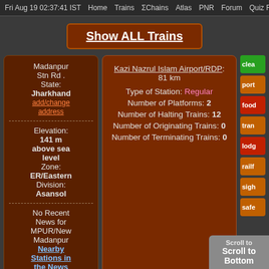Fri Aug 19 02:37:41 IST   Home   Trains   ΣChains   Atlas   PNR   Forum   Quiz Fe
Show ALL Trains
Madanpur Stn Rd . State: Jharkhand add/change address
---
Elevation: 141 m above sea level
Zone: ER/Eastern
Division: Asansol
---
No Recent News for MPUR/New Madanpur
Nearby Stations in the News
Kazi Nazrul Islam Airport/RDP: 81 km
Type of Station: Regular
Number of Platforms: 2
Number of Halting Trains: 12
Number of Originating Trains: 0
Number of Terminating Trains: 0